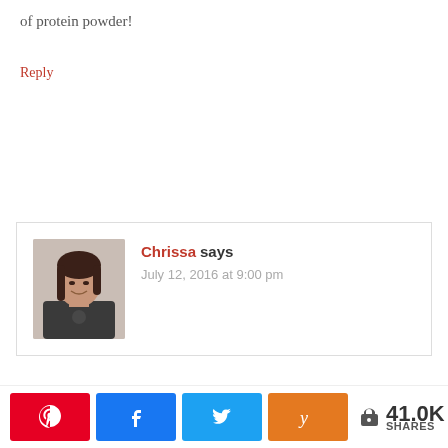of protein powder!
Reply
[Figure (photo): Profile photo of a smiling woman with long dark hair wearing a dark t-shirt]
Chrissa says
July 12, 2016 at 9:00 pm
41.0K SHARES